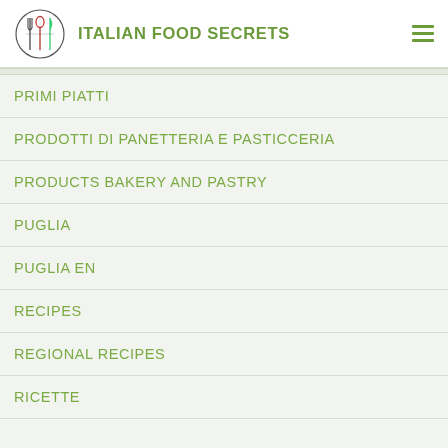ITALIAN FOOD SECRETS
PRIMI PIATTI
PRODOTTI DI PANETTERIA E PASTICCERIA
PRODUCTS BAKERY AND PASTRY
PUGLIA
PUGLIA EN
RECIPES
REGIONAL RECIPES
RICETTE